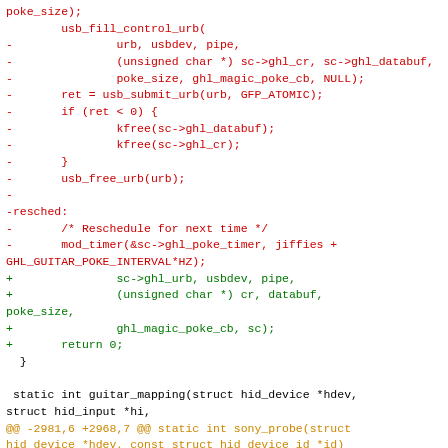Code diff showing removal of usb_fill_control_urb call and related USB URB submission code, replacement with new parameter passing style, and addition of guitar_mapping function and sony_probe context.